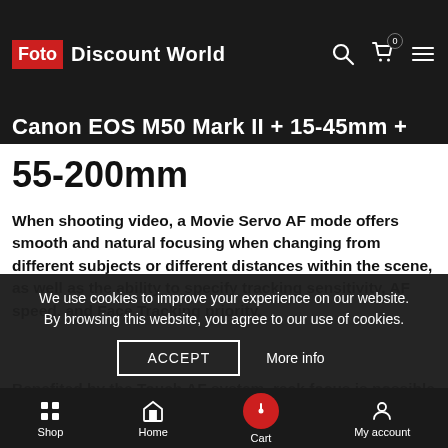Foto Discount World
Canon EOS M50 Mark II + 15-45mm + 55-200mm
When shooting video, a Movie Servo AF mode offers smooth and natural focusing when changing from different subjects or different distances within the scene, as well as the ability to specify tracking sensitivity, AF speed, and Face Tracking priority.
Benefited by the Touch AF system, rack focus is possible simply by touching elements within the scene on the touchscreen in order to change focus in an intuitive manner. Subject tracking in movies is also heightened due to the Dual Pixel CMOS AF system's ability to recognize subjects and maintain focus as they move throughout a scene.
We use cookies to improve your experience on our website. By browsing this website, you agree to our use of cookies.
Shop | Home | Cart | My account